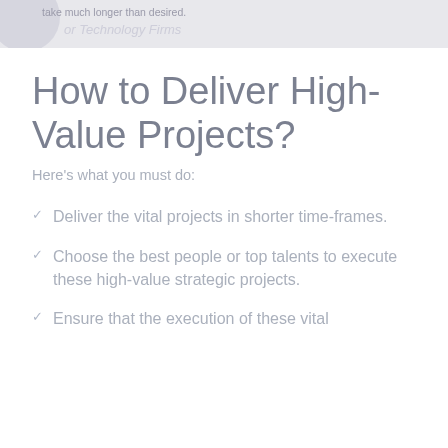take much longer than desired.
or Technology Firms
How to Deliver High-Value Projects?
Here's what you must do:
Deliver the vital projects in shorter time-frames.
Choose the best people or top talents to execute these high-value strategic projects.
Ensure that the execution of these vital